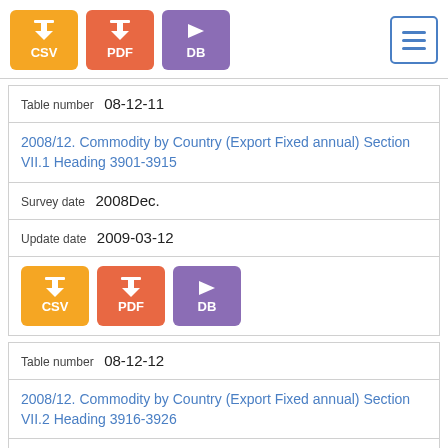[Figure (other): Three download buttons: CSV (orange), PDF (coral/red), DB (purple), and a hamburger menu icon (blue border)]
Table number 08-12-11
2008/12. Commodity by Country (Export Fixed annual) Section VII.1 Heading 3901-3915
Survey date 2008Dec.
Update date 2009-03-12
[Figure (other): Three download buttons: CSV (orange), PDF (coral/red), DB (purple)]
Table number 08-12-12
2008/12. Commodity by Country (Export Fixed annual) Section VII.2 Heading 3916-3926
Survey date 2008Dec.